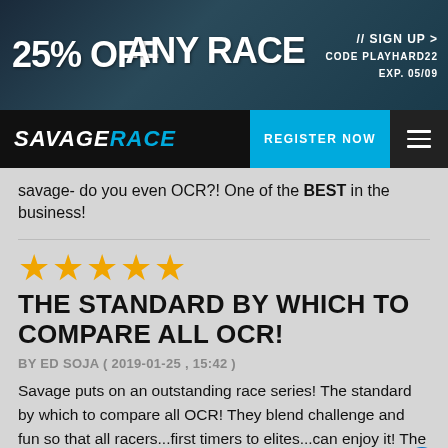[Figure (screenshot): Savage Race website banner advertisement: '25% OFF ANY RACE' with 'CODE PLAYHARD22 EXP. 05/09' and a '// SIGN UP >' link. Background shows a runner in athletic gear against a dark blue/teal background.]
SAVAGERACE — REGISTER NOW
savage- do you even OCR?! One of the BEST in the business!
[Figure (other): 5 gold star rating icons]
THE STANDARD BY WHICH TO COMPARE ALL OCR!
BY ED SOJA ( 2019-01-25 , 15:42 )
Savage puts on an outstanding race series! The standard by which to compare all OCR! They blend challenge and fun so that all racers...first timers to elites...can enjoy it! The tagline of the perfect distance and best obstacles